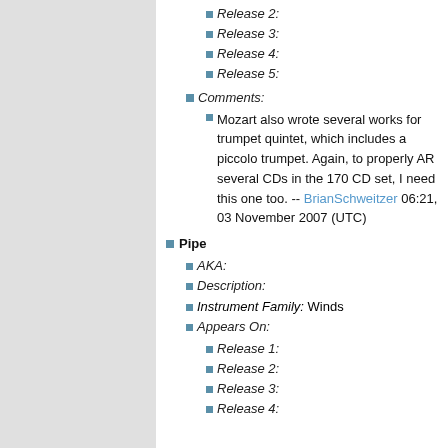Release 2:
Release 3:
Release 4:
Release 5:
Comments:
Mozart also wrote several works for trumpet quintet, which includes a piccolo trumpet. Again, to properly AR several CDs in the 170 CD set, I need this one too. -- BrianSchweitzer 06:21, 03 November 2007 (UTC)
Pipe
AKA:
Description:
Instrument Family: Winds
Appears On:
Release 1:
Release 2:
Release 3:
Release 4: